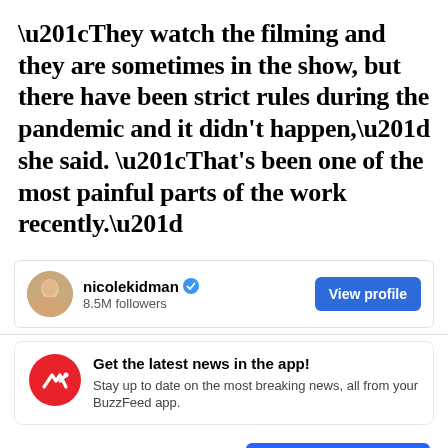“They watch the filming and they are sometimes in the show, but there have been strict rules during the pandemic and it didn't happen,” she said. “That’s been one of the most painful parts of the work recently.”
[Figure (other): Nicole Kidman Instagram profile card with avatar photo, verified badge, 8.5M followers, and View profile button]
[Figure (other): BuzzFeed app notification card with red BuzzFeed logo icon, 'Get the latest news in the app!' headline, and subtitle text]
Maybe later
Get the app